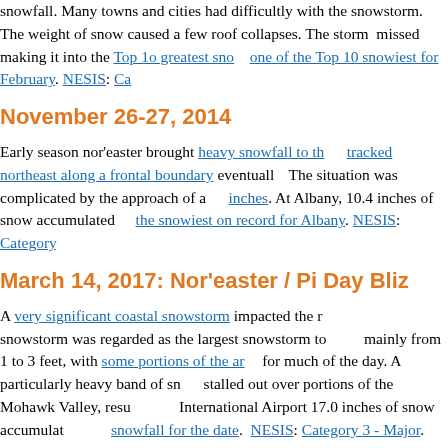snowfall. Many towns and cities had difficultly with the snowstorm. The weight of snow caused a few roof collapses. The storm missed making it into the Top 10 greatest snowstorms but was one of the Top 10 snowiest for February. NESIS: Category...
November 26-27, 2014
Early season nor'easter brought heavy snowfall to the region tracked northeast along a frontal boundary eventually. The situation was complicated by the approach of an additional inches. At Albany, 10.4 inches of snow accumulated the snowiest on record for Albany. NESIS: Category...
March 14, 2017: Nor'easter / Pi Day Bliz...
A very significant coastal snowstorm impacted the region. The snowstorm was regarded as the largest snowstorm to date, mainly from 1 to 3 feet, with some portions of the area for much of the day. A particularly heavy band of snow stalled out over portions of the Mohawk Valley, resulting in International Airport 17.0 inches of snow accumulated snowfall for the date. NESIS: Category 3 - Major.
There was a widespread extreme public impact, with warnings issued for all New York Counties, and tractor-trailers banned from roads. The governor of Connecticut issued a statewide ban. Much of the train service across the region was cancelled. Snow resulted in two barn collapses in Schoharie County, and snowfall, gusty winds up to 40 to 50 mph resulted in District, Taconics, Lake George-Saratoga Region, B... Berkshires, winds gusted as high as 74 mph. The w...